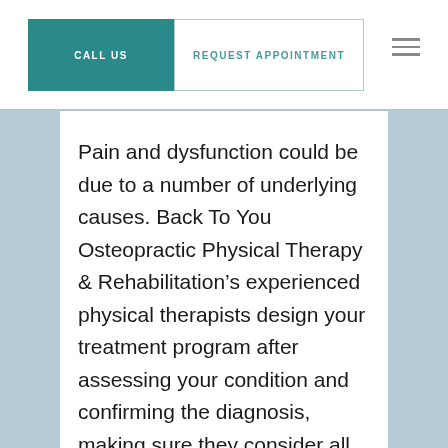CALL US | REQUEST APPOINTMENT
Pain and dysfunction could be due to a number of underlying causes. Back To You Osteopractic Physical Therapy & Rehabilitation's experienced physical therapists design your treatment program after assessing your condition and confirming the diagnosis, making sure they consider all probable causes.
What techniques does physical therapy use?